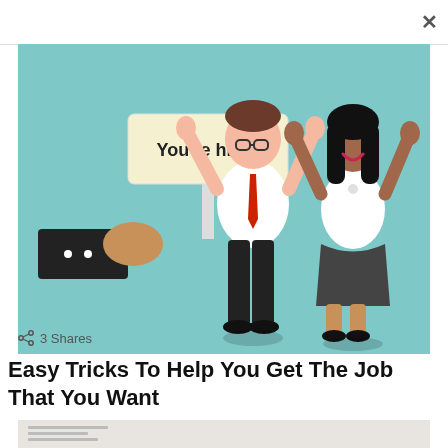[Figure (illustration): Cartoon illustration showing two happy people (a man with glasses and red tie, and a woman with black hair) with arms raised in celebration, alongside a hand holding a 'You're hired' sign. Teal/mint green background.]
< 3 Shares
Easy Tricks To Help You Get The Job That You Want
[Figure (illustration): Partial view of a document or paper at the bottom of the page.]